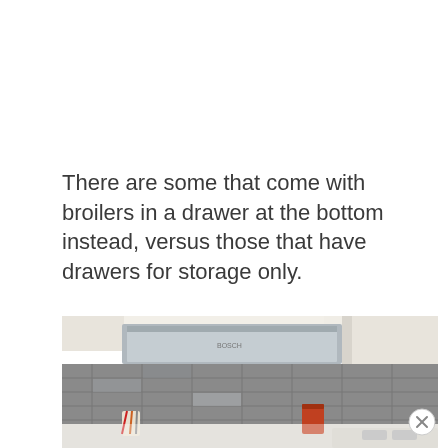There are some that come with broilers in a drawer at the bottom instead, versus those that have drawers for storage only.
[Figure (photo): Kitchen scene showing an under-cabinet range hood/microwave in stainless steel above a tiled backsplash, with utensils, a can, and kitchen appliances visible on the counter. A close/dismiss button (×) overlays the lower right corner.]